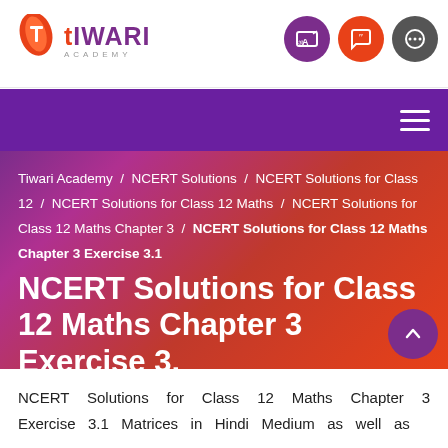Tiwari Academy — logo and navigation icons
Tiwari Academy / NCERT Solutions / NCERT Solutions for Class 12 / NCERT Solutions for Class 12 Maths / NCERT Solutions for Class 12 Maths Chapter 3 / NCERT Solutions for Class 12 Maths Chapter 3 Exercise 3.1
NCERT Solutions for Class 12 Maths Chapter 3 Exercise 3.1
NCERT Solutions for Class 12 Maths Chapter 3 Exercise 3.1 Matrices in Hindi Medium as well as